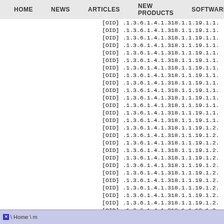HOME   NEWS   ARTICLES   NEW PRODUCTS   SOFTWARE
[OID] .1.3.6.1.4.1.318.1.1.19.1.1.
[OID] .1.3.6.1.4.1.318.1.1.19.1.1.
[OID] .1.3.6.1.4.1.318.1.1.19.1.1.
[OID] .1.3.6.1.4.1.318.1.1.19.1.1.
[OID] .1.3.6.1.4.1.318.1.1.19.1.1.
[OID] .1.3.6.1.4.1.318.1.1.19.1.1.
[OID] .1.3.6.1.4.1.318.1.1.19.1.1.
[OID] .1.3.6.1.4.1.318.1.1.19.1.1.
[OID] .1.3.6.1.4.1.318.1.1.19.1.1.
[OID] .1.3.6.1.4.1.318.1.1.19.1.1.
[OID] .1.3.6.1.4.1.318.1.1.19.1.1.
[OID] .1.3.6.1.4.1.318.1.1.19.1.1.
[OID] .1.3.6.1.4.1.318.1.1.19.1.1.
[OID] .1.3.6.1.4.1.318.1.1.19.1.1.
[OID] .1.3.6.1.4.1.318.1.1.19.1.2.
[OID] .1.3.6.1.4.1.318.1.1.19.1.2.
[OID] .1.3.6.1.4.1.318.1.1.19.1.2.
[OID] .1.3.6.1.4.1.318.1.1.19.1.2.
[OID] .1.3.6.1.4.1.318.1.1.19.1.2.
[OID] .1.3.6.1.4.1.318.1.1.19.1.2.
[OID] .1.3.6.1.4.1.318.1.1.19.1.2.
[OID] .1.3.6.1.4.1.318.1.1.19.1.2.
[OID] .1.3.6.1.4.1.318.1.1.19.1.2.
[OID] .1.3.6.1.4.1.318.1.1.19.1.2.
[OID] .1.3.6.1.4.1.318.1.1.19.1.2.
[OID] .1.3.6.1.4.1.318.1.1.19.1.2.
\ Home \ m